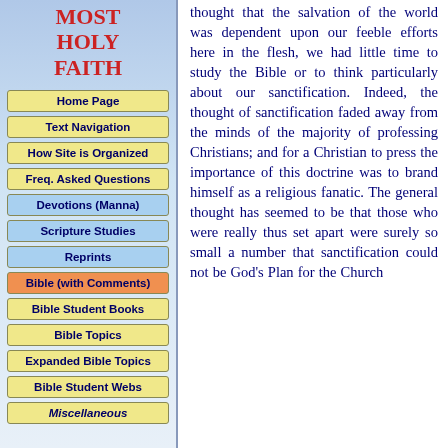MOST HOLY FAITH
Home Page
Text Navigation
How Site is Organized
Freq. Asked Questions
Devotions (Manna)
Scripture Studies
Reprints
Bible (with Comments)
Bible Student Books
Bible Topics
Expanded Bible Topics
Bible Student Webs
Miscellaneous
thought that the salvation of the world was dependent upon our feeble efforts here in the flesh, we had little time to study the Bible or to think particularly about our sanctification. Indeed, the thought of sanctification faded away from the minds of the majority of professing Christians; and for a Christian to press the importance of this doctrine was to brand himself as a religious fanatic. The general thought has seemed to be that those who were really thus set apart were surely so small a number that sanctification could not be God's Plan for the Church